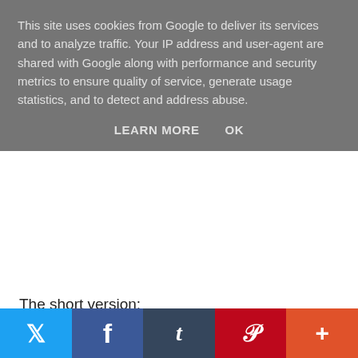This site uses cookies from Google to deliver its services and to analyze traffic. Your IP address and user-agent are shared with Google along with performance and security metrics to ensure quality of service, generate usage statistics, and to detect and address abuse.
LEARN MORE    OK
The short version:
everyone feels a little insecure sometimes
[Figure (infographic): Social sharing bar with Twitter, Facebook, Tumblr, Pinterest, and More (+) buttons]